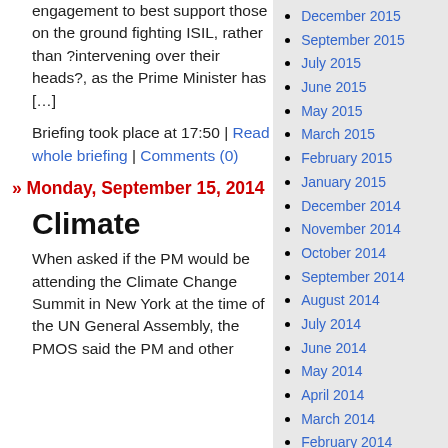engagement to best support those on the ground fighting ISIL, rather than ?intervening over their heads?, as the Prime Minister has […]
Briefing took place at 17:50 | Read whole briefing | Comments (0)
» Monday, September 15, 2014
Climate
When asked if the PM would be attending the Climate Change Summit in New York at the time of the UN General Assembly, the PMOS said the PM and other
December 2015
September 2015
July 2015
June 2015
May 2015
March 2015
February 2015
January 2015
December 2014
November 2014
October 2014
September 2014
August 2014
July 2014
June 2014
May 2014
April 2014
March 2014
February 2014
January 2014